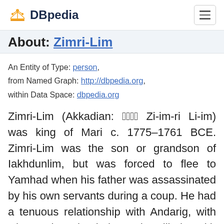DBpedia
About: Zimri-Lim
An Entity of Type: person, from Named Graph: http://dbpedia.org, within Data Space: dbpedia.org
Zimri-Lim (Akkadian: 𒅆𒌝𒊑𒆷 Zi-im-ri Li-im) was king of Mari c. 1775–1761 BCE. Zimri-Lim was the son or grandson of Iakhdunlim, but was forced to flee to Yamhad when his father was assassinated by his own servants during a coup. He had a tenuous relationship with Andarig, with whom he battled and allied with occasionally. The city was occupied by Shamshi-Adad I, the king of Assur, who